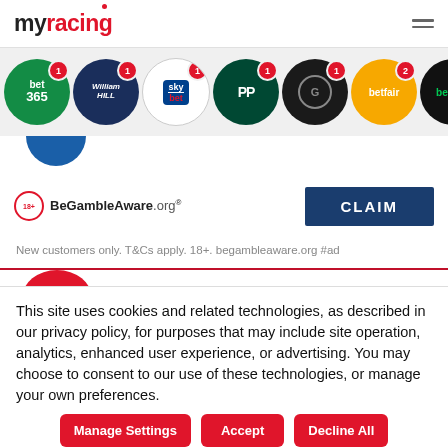myracing
[Figure (logo): Row of bookmaker brand icons: bet365, William Hill, Sky Bet, Paddy Power, Grosvenor, Betfair, Betway, 888, with notification badges]
[Figure (logo): BeGambleAware.org logo]
[Figure (other): CLAIM button in dark blue]
New customers only. T&Cs apply. 18+. begambleaware.org #ad
This site uses cookies and related technologies, as described in our privacy policy, for purposes that may include site operation, analytics, enhanced user experience, or advertising. You may choose to consent to our use of these technologies, or manage your own preferences.
Manage Settings | Accept | Decline All